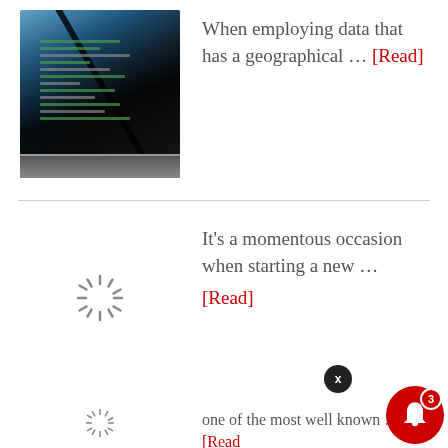[Figure (photo): Laptop showing code on screen]
When employing data that has a geographical … [Read]
[Figure (other): Loading spinner / placeholder image]
It's a momentous occasion when starting a new … [Read]
[Figure (other): Loading spinner for third article]
one of the most well known … [Read]
[Figure (photo): Notification popup: Common Security Mistakes for Mac Users to Avoid, 16 hours ago, with thumbnail of person at computer]
Common Security Mistakes for Mac Users to Avoid
16 hours ago